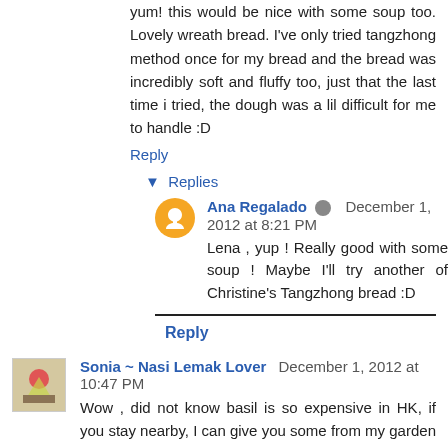yum! this would be nice with some soup too. Lovely wreath bread. I've only tried tangzhong method once for my bread and the bread was incredibly soft and fluffy too, just that the last time i tried, the dough was a lil difficult for me to handle :D
Reply
▾ Replies
Ana Regalado  December 1, 2012 at 8:21 PM
Lena , yup ! Really good with some soup ! Maybe I'll try another of Christine's Tangzhong bread :D
Reply
Sonia ~ Nasi Lemak Lover  December 1, 2012 at 10:47 PM
Wow , did not know basil is so expensive in HK, if you stay nearby, I can give you some from my garden , hehehe ..nowadays I prefer direct method rather than tangzhong method , lazy me , hahaha ..
Reply